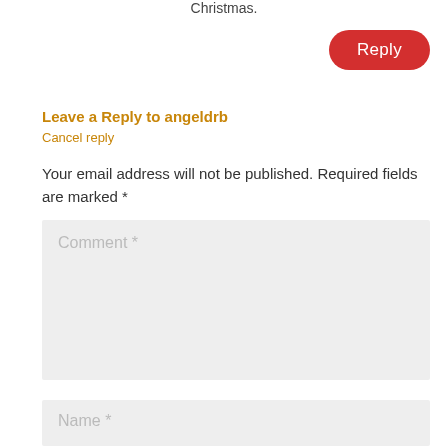Christmas.
Reply
Leave a Reply to angeldrb
Cancel reply
Your email address will not be published. Required fields are marked *
Comment *
Name *